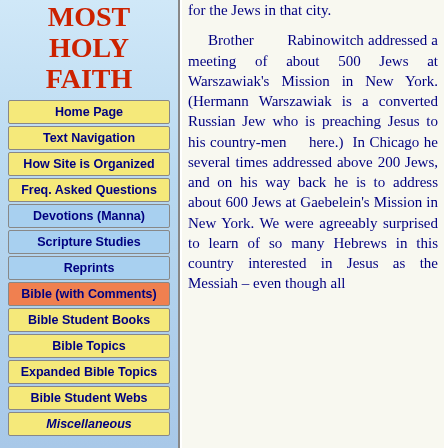MOST HOLY FAITH
Home Page
Text Navigation
How Site is Organized
Freq. Asked Questions
Devotions (Manna)
Scripture Studies
Reprints
Bible (with Comments)
Bible Student Books
Bible Topics
Expanded Bible Topics
Bible Student Webs
Miscellaneous
for the Jews in that city.

Brother Rabinowitch addressed a meeting of about 500 Jews at Warszawiak's Mission in New York. (Hermann Warszawiak is a converted Russian Jew who is preaching Jesus to his country-men here.) In Chicago he several times addressed above 200 Jews, and on his way back he is to address about 600 Jews at Gaebelein's Mission in New York. We were agreeably surprised to learn of so many Hebrews in this country interested in Jesus as the Messiah – even though all